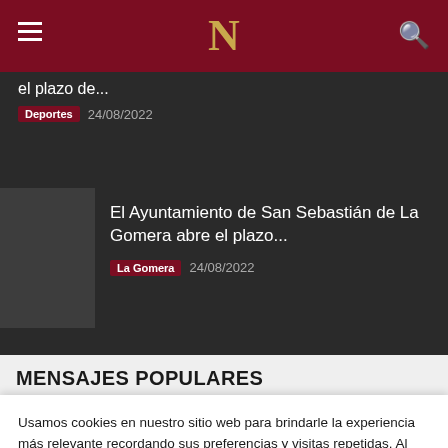N
el plazo de...
Deportes  24/08/2022
El Ayuntamiento de San Sebastián de La Gomera abre el plazo...
La Gomera  24/08/2022
MENSAJES POPULARES
Usamos cookies en nuestro sitio web para brindarle la experiencia más relevante recordando sus preferencias y visitas repetidas. Al hacer clic en "Aceptar todo", acepta el uso de TODAS las cookies. Sin embargo, puede visitar "Configuración de cookies" para proporcionar un consentimiento controlado.
Aceptar todo